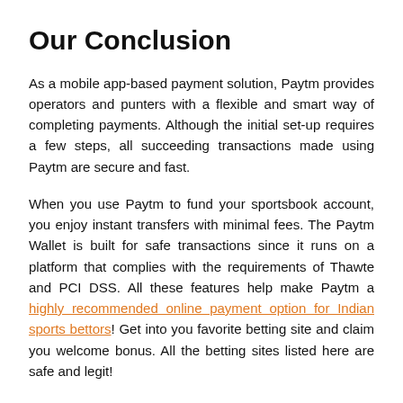Our Conclusion
As a mobile app-based payment solution, Paytm provides operators and punters with a flexible and smart way of completing payments. Although the initial set-up requires a few steps, all succeeding transactions made using Paytm are secure and fast.
When you use Paytm to fund your sportsbook account, you enjoy instant transfers with minimal fees. The Paytm Wallet is built for safe transactions since it runs on a platform that complies with the requirements of Thawte and PCI DSS. All these features help make Paytm a highly recommended online payment option for Indian sports bettors! Get into you favorite betting site and claim you welcome bonus. All the betting sites listed here are safe and legit!